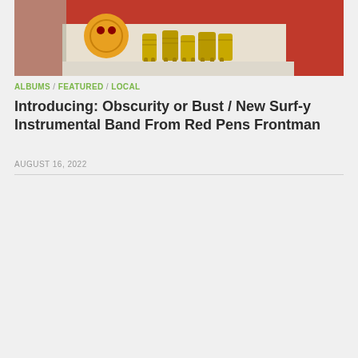[Figure (photo): Colorful crocheted or yarn animal figurines (including what appears to be a caterpillar/worm and other creatures) in yellow, orange, and gold tones displayed on a white surface with a red and white background.]
ALBUMS / FEATURED / LOCAL
Introducing: Obscurity or Bust / New Surf-y Instrumental Band From Red Pens Frontman
AUGUST 16, 2022